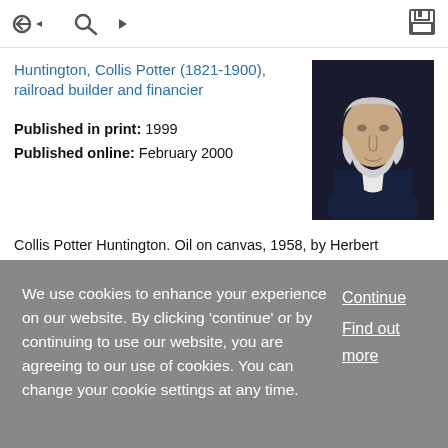[navigation icons: back, search, save]
In Huntington, Collis Potter (1821-1900), railroad builder and financier
Published in print: 1999
Published online: February 2000
[Figure (photo): Portrait painting of Collis Potter Huntington, an elderly man with white beard in dark clothing, oil on canvas 1958 by Herbert Bohnert]
Collis Potter Huntington. Oil on canvas, 1958, by Herbert Bohnert. National Portrait Gallery, Smithsonian Institution; gift of Anna Hyatt Huntington.
We use cookies to enhance your experience on our website. By clicking 'continue' or by continuing to use our website, you are agreeing to our use of cookies. You can change your cookie settings at any time.